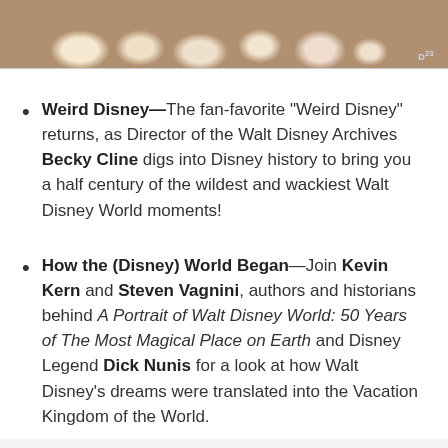[Figure (photo): Top strip of image showing animated white fluffy dog characters (likely from a Disney movie) sitting/standing on a tiled floor. D23 logo visible in bottom right corner of image.]
Weird Disney World—The fan-favorite "Weird Disney" returns, as Director of the Walt Disney Archives Becky Cline digs into Disney history to bring you a half century of the wildest and wackiest Walt Disney World moments!
How the (Disney) World Began—Join Kevin Kern and Steven Vagnini, authors and historians behind A Portrait of Walt Disney World: 50 Years of The Most Magical Place on Earth and Disney Legend Dick Nunis for a look at how Walt Disney's dreams were translated into the Vacation Kingdom of the World.